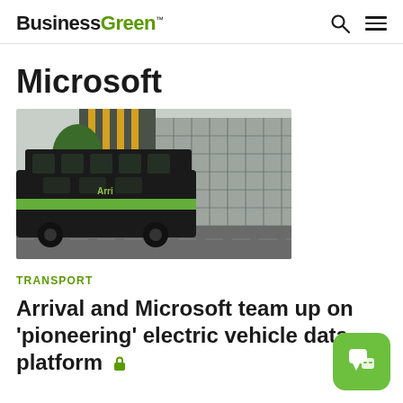BusinessGreen
Microsoft
[Figure (photo): A dark-coloured electric double-decker bus with a green stripe driving past a modern glass office building with trees in the background.]
TRANSPORT
Arrival and Microsoft team up on 'pioneering' electric vehicle data platform 🔒